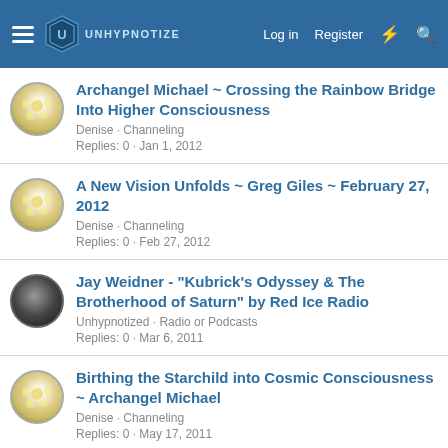UNHYPNOTIZE | Log in | Register
Archangel Michael ~ Crossing the Rainbow Bridge Into Higher Consciousness
Denise · Channeling
Replies: 0 · Jan 1, 2012
A New Vision Unfolds ~ Greg Giles ~ February 27, 2012
Denise · Channeling
Replies: 0 · Feb 27, 2012
Jay Weidner - "Kubrick's Odyssey & The Brotherhood of Saturn" by Red Ice Radio
Unhypnotized · Radio or Podcasts
Replies: 0 · Mar 6, 2011
Birthing the Starchild into Cosmic Consciousness ~ Archangel Michael
Denise · Channeling
Replies: 0 · May 17, 2011